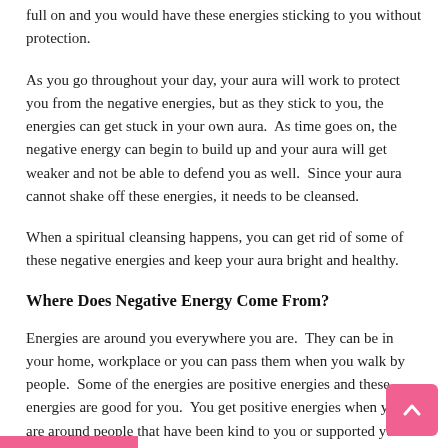full on and you would have these energies sticking to you without protection.
As you go throughout your day, your aura will work to protect you from the negative energies, but as they stick to you, the energies can get stuck in your own aura.  As time goes on, the negative energy can begin to build up and your aura will get weaker and not be able to defend you as well.  Since your aura cannot shake off these energies, it needs to be cleansed.
When a spiritual cleansing happens, you can get rid of some of these negative energies and keep your aura bright and healthy.
Where Does Negative Energy Come From?
Energies are around you everywhere you are.  They can be in your home, workplace or you can pass them when you walk by people.  Some of the energies are positive energies and these energies are good for you.  You get positive energies when you are around people that have been kind to you or supported you through your life.